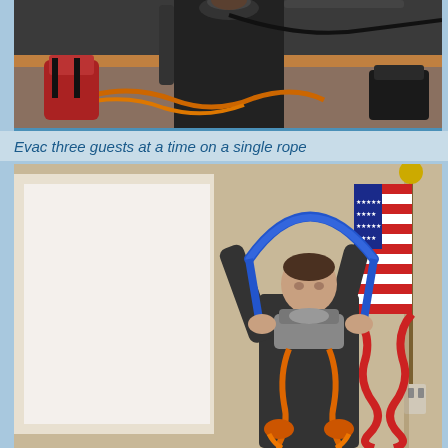[Figure (photo): Person in dark clothing holding rope evacuation equipment in an indoor setting. Orange ropes and climbing gear visible on the floor. Red backpack and other equipment in background.]
Evac three guests at a time on a single rope
[Figure (photo): Person in dark clothing demonstrating rope rescue equipment in an indoor conference room setting. A blue rope forms a large loop overhead, connected to orange rope and metal hardware. An American flag is visible in the background along with a white projection screen.]